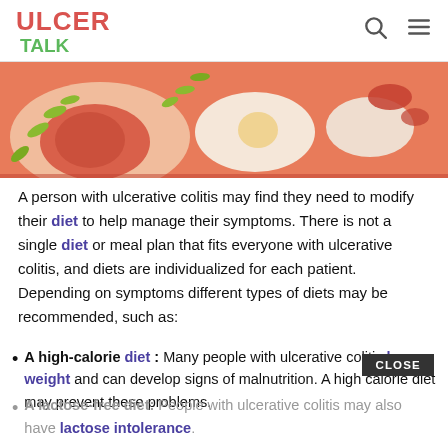ULCER TALK
[Figure (illustration): Colorful illustration of food items including eggs and vegetables on a red/orange background, related to diet and ulcerative colitis.]
A person with ulcerative colitis may find they need to modify their diet to help manage their symptoms. There is not a single diet or meal plan that fits everyone with ulcerative colitis, and diets are individualized for each patient. Depending on symptoms different types of diets may be recommended, such as:
A high-calorie diet: Many people with ulcerative colitis lose weight and can develop signs of malnutrition. A high calorie diet may prevent these problems.
A lactose-free diet: People with ulcerative colitis may also have lactose intolerance.